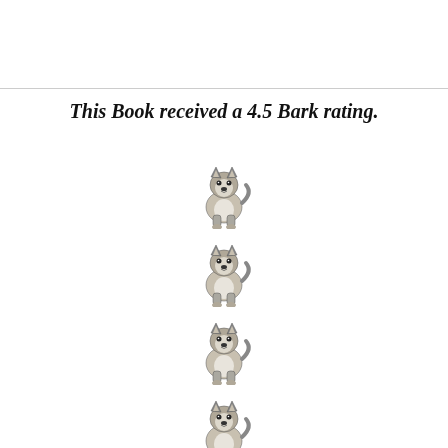This Book received a 4.5 Bark rating.
[Figure (illustration): Four husky/malamute dog illustrations stacked vertically, followed by a plus sign, representing a 4.5 bark rating system]